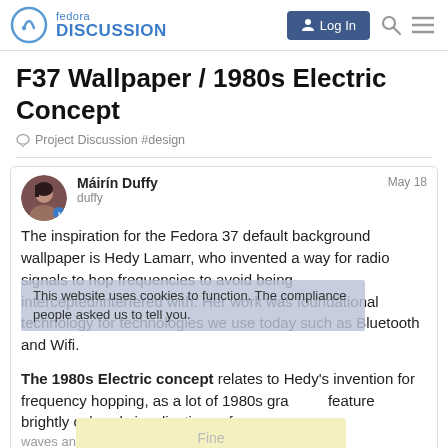fedora DISCUSSION | Log In
F37 Wallpaper / 1980s Electric Concept
Project Discussion #design
Máirín Duffy
duffy
May 18
The inspiration for the Fedora 37 default background wallpaper is Hedy Lamarr, who invented a way for radio signals to hop frequencies to avoid being intercepted/interfered with. Her work was foundational technology for technologies we use today such as Bluetooth and Wifi.
This website uses cookies to function. The compliance people asked us to tell you.
The 1980s Electric concept relates to Hedy's invention for frequency hopping, as a lot of 1980s gra feature brightly colored visualizations of waves and grids as an allegory to techno
Fine
1 / 3